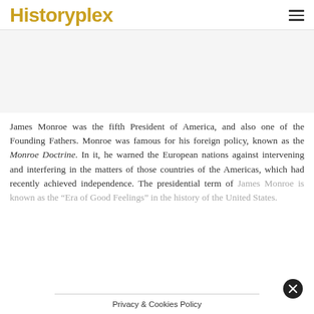Historyplex
[Figure (other): Advertisement/empty space area]
James Monroe was the fifth President of America, and also one of the Founding Fathers. Monroe was famous for his foreign policy, known as the Monroe Doctrine. In it, he warned the European nations against intervening and interfering in the matters of those countries of the Americas, which had recently achieved independence. The presidential term of James Monroe is known as the “Era of Good Feelings” in the history of the United States.
Privacy & Cookies Policy